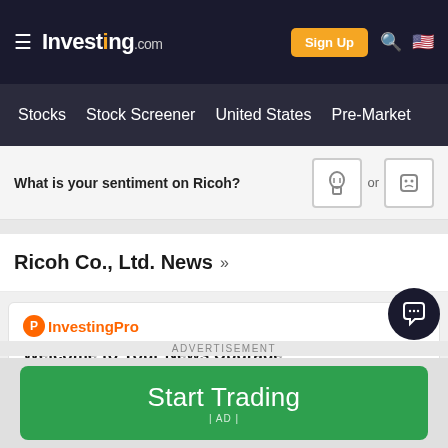Investing.com | Sign Up | Stocks | Stock Screener | United States | Pre-Market
What is your sentiment on Ricoh?
Ricoh Co., Ltd. News »
[Figure (logo): InvestingPro logo with orange circle P icon]
Welcome to Your News Upgrade
Be the First to Know and Act on Market Moving News.
ADVERTISEMENT
Start Trading | AD |